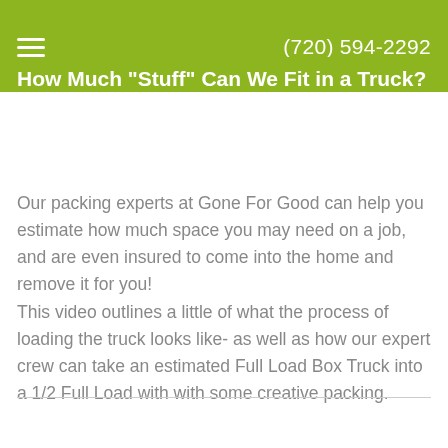(720) 594-2292
How Much "Stuff" Can We Fit in a Truck?
Our packing experts at Gone For Good can help you estimate how much space you may need on a job, and are even insured to come into the home and remove it for you!
This video outlines a little of what the process of loading the truck looks like- as well as how our expert crew can take an estimated Full Load Box Truck into a 1/2 Full Load with with some creative packing.